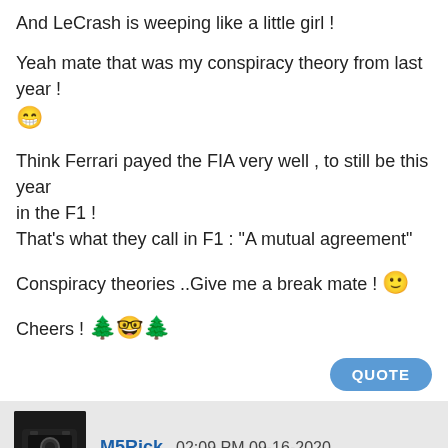And LeCrash is weeping like a little girl !
Yeah mate that was my conspiracy theory from last year ! 😁
Think Ferrari payed the FIA very well , to still be this year in the F1 !
That's what they call in F1 : "A mutual agreement"
Conspiracy theories ..Give me a break mate ! 🙂
Cheers ! 🎄🤓🎄
M5Rick 02:09 PM 09-16-2020
BOT has the same power as HAM in race mode, we take this extremely seriously 🙂 🤌